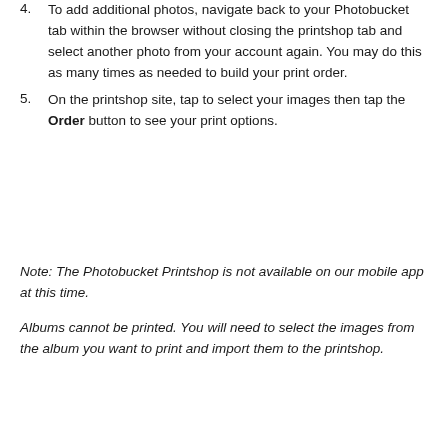4. To add additional photos, navigate back to your Photobucket tab within the browser without closing the printshop tab and select another photo from your account again. You may do this as many times as needed to build your print order.
5. On the printshop site, tap to select your images then tap the Order button to see your print options.
Note: The Photobucket Printshop is not available on our mobile app at this time.
Albums cannot be printed. You will need to select the images from the album you want to print and import them to the printshop.